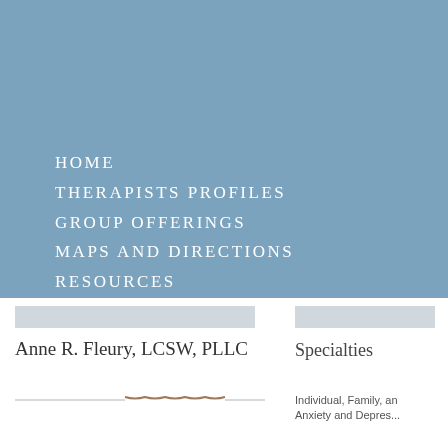HOME
THERAPISTS PROFILES
GROUP OFFERINGS
MAPS AND DIRECTIONS
RESOURCES
CONTACT US
Anne R. Fleury, LCSW, PLLC
Specialties
Individual, Family, and
Anxiety and Depres...